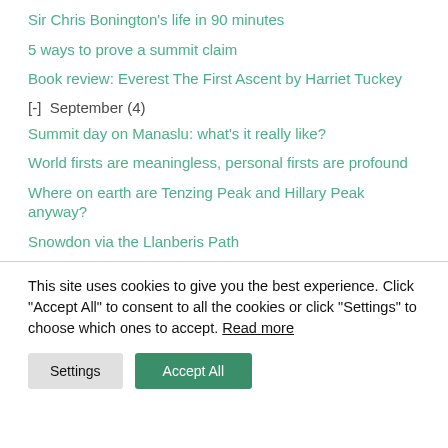Sir Chris Bonington's life in 90 minutes
5 ways to prove a summit claim
Book review: Everest The First Ascent by Harriet Tuckey
[-]  September (4)
Summit day on Manaslu: what's it really like?
World firsts are meaningless, personal firsts are profound
Where on earth are Tenzing Peak and Hillary Peak anyway?
Snowdon via the Llanberis Path
This site uses cookies to give you the best experience. Click "Accept All" to consent to all the cookies or click "Settings" to choose which ones to accept. Read more